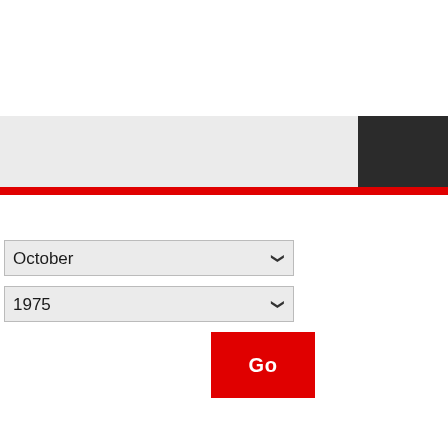[Figure (screenshot): Website header area with light gray navigation bar and dark block on the right, separated by a red horizontal bar]
October
1975
Go